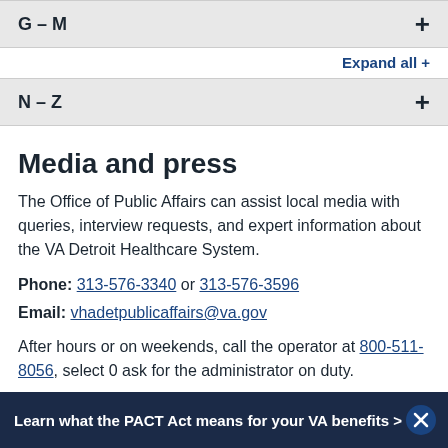G – M
Expand all +
N – Z
Media and press
The Office of Public Affairs can assist local media with queries, interview requests, and expert information about the VA Detroit Healthcare System.
Phone: 313-576-3340 or 313-576-3596
Email: vhadetpublicaffairs@va.gov
After hours or on weekends, call the operator at 800-511-8056, select 0 ask for the administrator on duty.
Learn what the PACT Act means for your VA benefits >